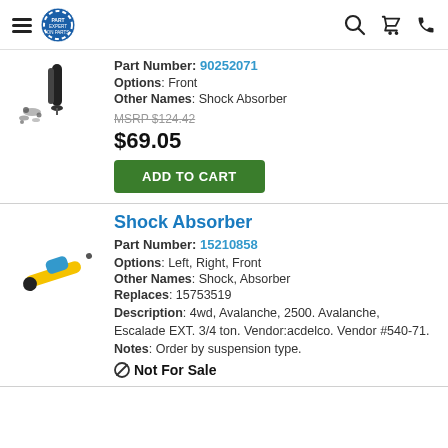Navigation header with hamburger menu, logo, search, cart, and phone icons
[Figure (photo): Black shock absorber with mounting hardware (washers, bushings)]
Part Number: 90252071
Options: Front
Other Names: Shock Absorber
MSRP $124.42
$69.05
ADD TO CART
Shock Absorber
[Figure (photo): Yellow and blue shock absorber]
Part Number: 15210858
Options: Left, Right, Front
Other Names: Shock, Absorber
Replaces: 15753519
Description: 4wd, Avalanche, 2500. Avalanche, Escalade EXT. 3/4 ton. Vendor:acdelco. Vendor #540-71.
Notes: Order by suspension type.
Not For Sale